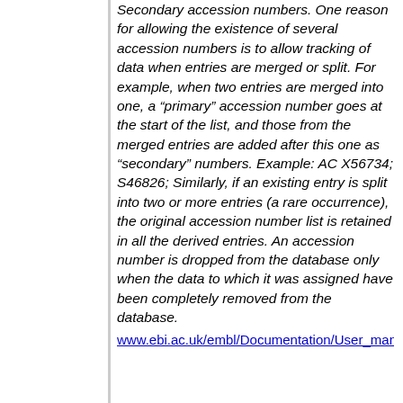Secondary accession numbers. One reason for allowing the existence of several accession numbers is to allow tracking of data when entries are merged or split. For example, when two entries are merged into one, a “primary” accession number goes at the start of the list, and those from the merged entries are added after this one as “secondary” numbers. Example: AC X56734; S46826; Similarly, if an existing entry is split into two or more entries (a rare occurrence), the original accession number list is retained in all the derived entries. An accession number is dropped from the database only when the data to which it was assigned have been completely removed from the database.
www.ebi.ac.uk/embl/Documentation/User_manual/us